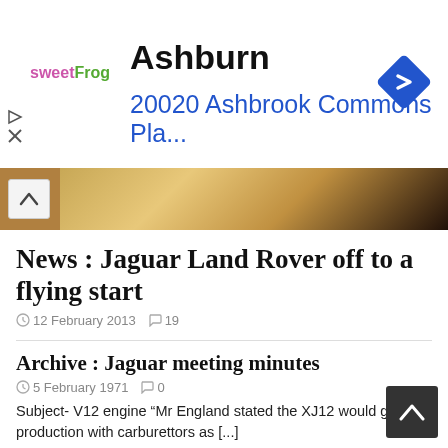[Figure (infographic): Advertisement banner for sweetFrog frozen yogurt in Ashburn with address 20020 Ashbrook Commons Pla... and a blue diamond direction icon]
[Figure (photo): Partial photo strip showing a tan/brown sandy or wooden surface with a chevron-up (collapse) button on the left]
News : Jaguar Land Rover off to a flying start
12 February 2013  19
Archive : Jaguar meeting minutes
5 February 1971  0
Subject- V12 engine “Mr England stated the XJ12 would go into production with carburettors as [...]
Archive : Disruption spreading at Leyland
4 July 1975  0